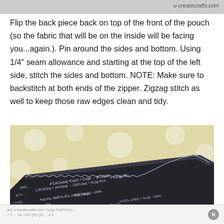u-createcrafts.com
Flip the back piece back on top of the front of the pouch (so the fabric that will be on the inside will be facing you...again.).  Pin around the sides and bottom.  Using 1/4" seam allowance and starting at the top of the left side, stitch the sides and bottom. NOTE: Make sure to backstitch at both ends of the zipper.  Zigzag stitch as well to keep those raw edges clean and tidy.
[Figure (photo): Photo of a dark navy pencil pouch with chemical equations printed on the fabric, held open showing the inside with a zipper, against a light yellow background with white polka dots.]
u-createcrafts.com  ×